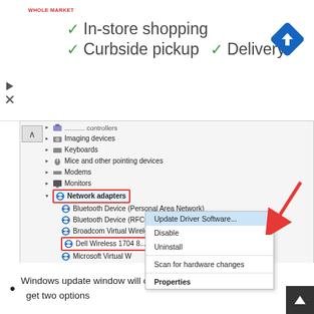[Figure (screenshot): Advertisement banner showing Whole Market logo with checkmarks for In-store shopping, Curbside pickup, Delivery, and a blue navigation/maps icon]
[Figure (screenshot): Windows Device Manager screenshot showing Network adapters expanded, with 'Network adapters' highlighted in red box and 'Dell Wireless 1704' highlighted with red box. A context menu is visible with options: Update Driver Software (highlighted with red arrow), Disable, Uninstall, Scan for hardware changes, Properties.]
Windows update window will open and now you will get two options